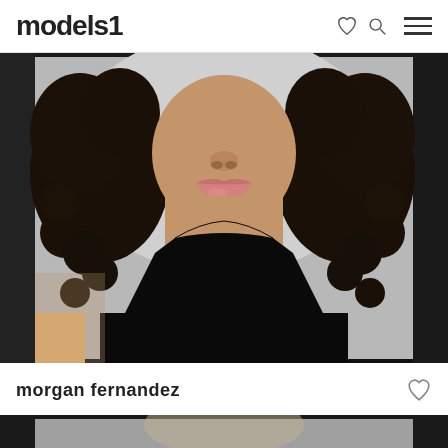models1
[Figure (photo): Close-up portrait photo of model Morgan Fernandez, showing her face from nose down, with dark curly hair, wearing a black sleeveless top, against a light background]
morgan fernandez
[Figure (photo): Partial view of a second model photo at the bottom of the page]